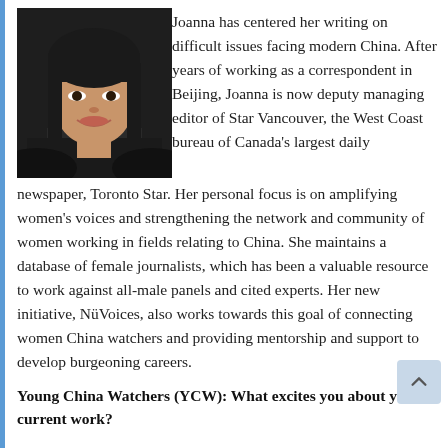[Figure (photo): Headshot photo of Joanna, an Asian woman with black hair and bangs, smiling, dark background, wearing dark clothing.]
Joanna has centered her writing on difficult issues facing modern China. After years of working as a correspondent in Beijing, Joanna is now deputy managing editor of Star Vancouver, the West Coast bureau of Canada's largest daily newspaper, Toronto Star. Her personal focus is on amplifying women's voices and strengthening the network and community of women working in fields relating to China. She maintains a database of female journalists, which has been a valuable resource to work against all-male panels and cited experts. Her new initiative, NüVoices, also works towards this goal of connecting women China watchers and providing mentorship and support to develop burgeoning careers.
Young China Watchers (YCW): What excites you about your current work?